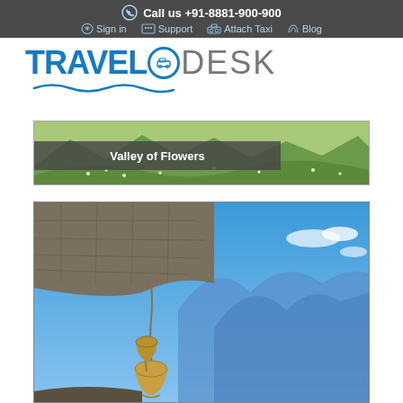Call us +91-8881-900-900 | Sign in | Support | Attach Taxi | Blog
[Figure (logo): TravelODesk logo with blue text and car icon inside circle, with wave underline]
[Figure (photo): Banner photo of green valley with flowers and mountains, with overlay label 'Valley of Flowers']
[Figure (photo): Photo of stone temple/shrine with brass bells hanging, blue mountain landscape in background]